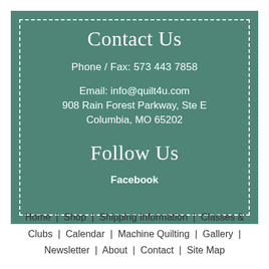Contact Us
Phone / Fax: 573 443 7858
Email: info@quilt4u.com
908 Rain Forest Parkway, Ste E
Columbia, MO 65202
Follow Us
Facebook
Home  |  Shop  |  Shipping Information  |  Classes & Clubs  |  Calendar  |  Machine Quilting  |  Gallery  |  Newsletter  |  About  |  Contact  |  Site Map